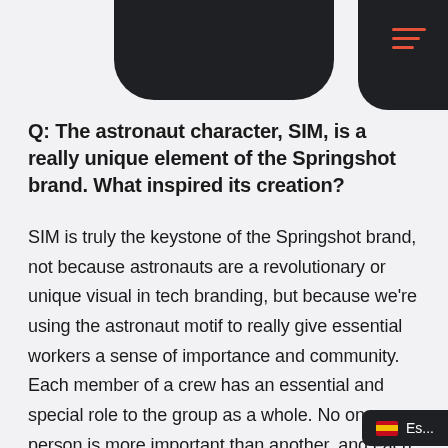[Figure (screenshot): Top navigation bar with dark rounded phone/device shape at top center and dark right corner block containing a hamburger menu with red/coral colored lines]
Q: The astronaut character, SIM, is a really unique element of the Springshot brand. What inspired its creation?
SIM is truly the keystone of the Springshot brand, not because astronauts are a revolutionary or unique visual in tech branding, but because we're using the astronaut motif to really give essential workers a sense of importance and community. Each member of a crew has an essential and special role to the group as a whole. No one person is more important than another, and each member is valued. This con conjures feelings of camaraderie that was im